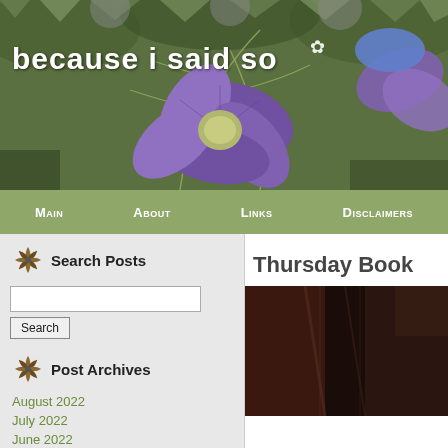[Figure (photo): Blog header banner with purple flower (Nigella) on green leafy background, blog title 'because i said so' overlaid in white bold text]
Main  About  Links  Disclaimers
Search Posts
Post Archives
August 2022
July 2022
June 2022
May 2022
April 2022
February 2022
January 2022
December 2021
Thursday Book
[Figure (photo): Partial photo of books or dark objects, bottom right of page]